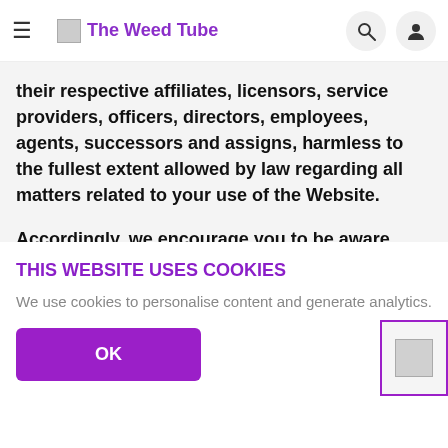The Weed Tube
their respective affiliates, licensors, service providers, officers, directors, employees, agents, successors and assigns, harmless to the fullest extent allowed by law regarding all matters related to your use of the Website.
Accordingly, we encourage you to be aware when you leave the Service and to read the terms and conditions and privacy policy of each other website that you visit.
THIS WEBSITE USES COOKIES
We use cookies to personalise content and generate analytics.